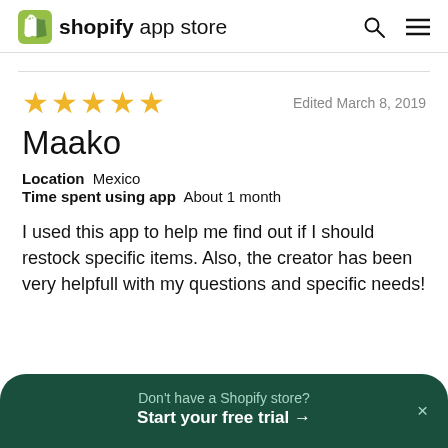shopify app store
[Figure (other): Five gold stars rating]
Edited March 8, 2019
Maako
Location  Mexico
Time spent using app  About 1 month
I used this app to help me find out if I should restock specific items. Also, the creator has been very helpfull with my questions and specific needs!
Don't have a Shopify store? Start your free trial →